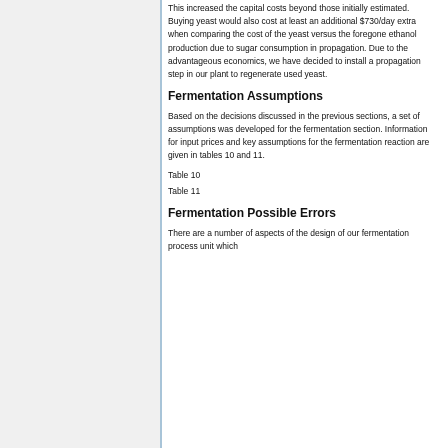This increased the capital costs beyond those initially estimated. Buying yeast would also cost at least an additional $730/day extra when comparing the cost of the yeast versus the foregone ethanol production due to sugar consumption in propagation. Due to the advantageous economics, we have decided to install a propagation step in our plant to regenerate used yeast.
Fermentation Assumptions
Based on the decisions discussed in the previous sections, a set of assumptions was developed for the fermentation section. Information for input prices and key assumptions for the fermentation reaction are given in tables 10 and 11.
Table 10
Table 11
Fermentation Possible Errors
There are a number of aspects of the design of our fermentation process unit which